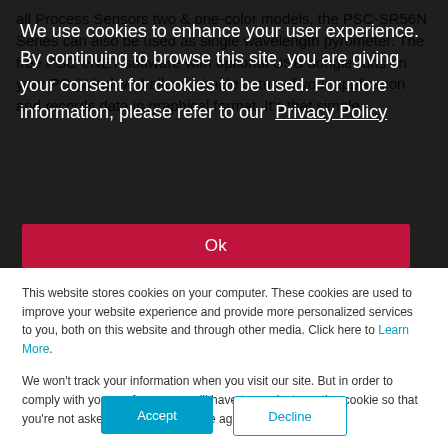all Process Sensors two & one-color models, the PSC-SR56N Series can also be used as single wavelength pyrometer. The free PSC-eNET software with optional USB dongle runs on your PC (Windows) allows simple setup of your application and records data in graphical format. It's that simple.
We use cookies to enhance your user experience. By continuing to browse this site, you are giving your consent for cookies to be used. For more information, please refer to our Privacy Policy
Ok
This website stores cookies on your computer. These cookies are used to improve your website experience and provide more personalized services to you, both on this website and through other media. Click here to Learn More.
We won't track your information when you visit our site. But in order to comply with your preferences, we'll have to use just one tiny cookie so that you're not asked to make this choice again.
Accept
Decline